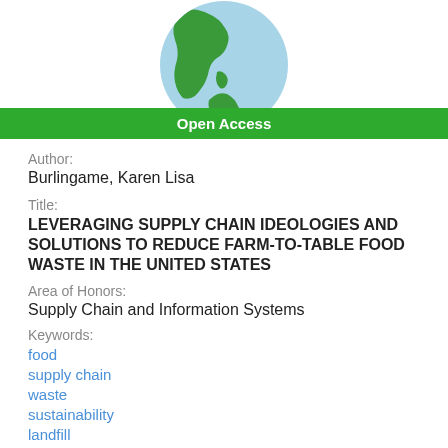[Figure (illustration): Globe illustration showing Americas, light blue with green landmass, circular crop, top portion visible]
Open Access
Author:
Burlingame, Karen Lisa
Title:
LEVERAGING SUPPLY CHAIN IDEOLOGIES AND SOLUTIONS TO REDUCE FARM-TO-TABLE FOOD WASTE IN THE UNITED STATES
Area of Honors:
Supply Chain and Information Systems
Keywords:
food
supply chain
waste
sustainability
landfill